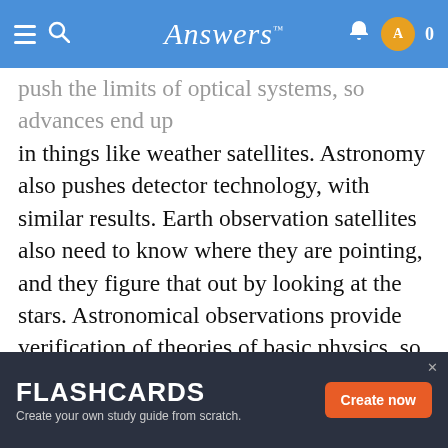Answers™
push the limits of optical systems, so advances end up in things like weather satellites. Astronomy also pushes detector technology, with similar results. Earth observation satellites also need to know where they are pointing, and they figure that out by looking at the stars. Astronomical observations provide verification of theories of basic physics, so an understanding of our immediate world is enhanced by observing far-off galaxies. The above answer is well presented, so I will take a completely different tack. Hundreds and thousands of years ago, people, kings, and religious leaders believed our mortal existence was linked somehow to the heavens. An eclipse, or the sighting of a comet, were often regarded as heavenly events that had certain significance upon those who inhabited
FLASHCARDS — Create your own study guide from scratch. Create now